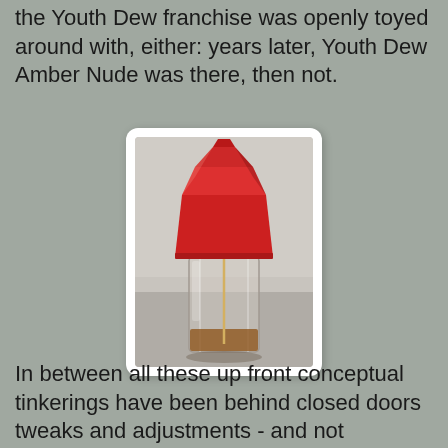the Youth Dew franchise was openly toyed around with, either: years later, Youth Dew Amber Nude was there, then not.
[Figure (photo): A glass perfume bottle with a red faceted cap, nearly empty, photographed against a light grey fabric background. The bottle is clear with octagonal cross-section and contains a small amount of amber liquid at the bottom. A thin stick or applicator is inserted into the bottle.]
In between all these up front conceptual tinkerings have been behind closed doors tweaks and adjustments - and not